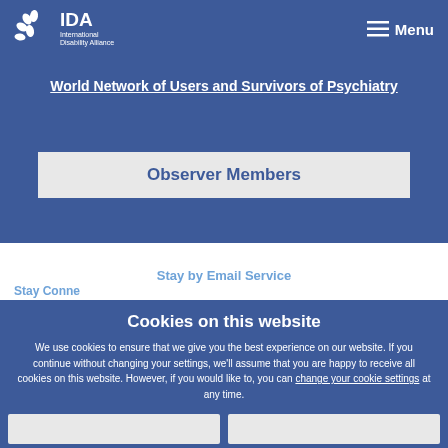IDA International Disability Alliance — Menu
World Network of Users and Survivors of Psychiatry
Observer Members
Cookies on this website
We use cookies to ensure that we give you the best experience on our website. If you continue without changing your settings, we'll assume that you are happy to receive all cookies on this website. However, if you would like to, you can change your cookie settings at any time.